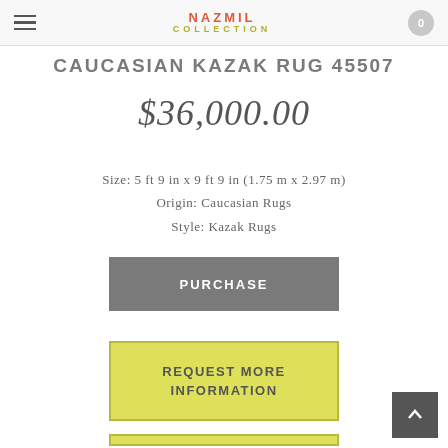NAZMIL COLLECTION — navigation header with hamburger menu and cart
CAUCASIAN KAZAK RUG 45507
$36,000.00
Size: 5 ft 9 in x 9 ft 9 in (1.75 m x 2.97 m)
Origin: Caucasian Rugs
Style: Kazak Rugs
PURCHASE
REQUEST MORE INFORMATION